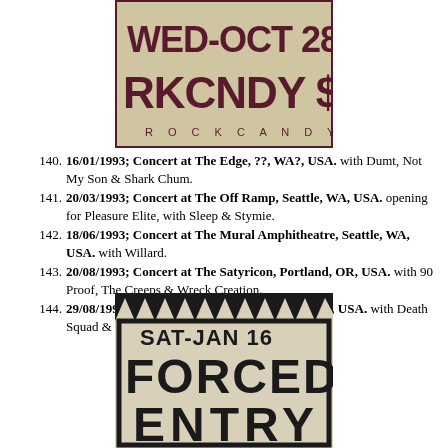[Figure (photo): Concert flyer for RKCNDY (Rock Candy) showing WED-OCT 28, RKCNDY $6, ROCKCANDY in large bold maroon letters on cream background]
140. 16/01/1993; Concert at The Edge, ??, WA?, USA. with Dumt, Not My Son & Shark Chum.
141. 20/03/1993; Concert at The Off Ramp, Seattle, WA, USA. opening for Pleasure Elite, with Sleep & Stymie.
142. 18/06/1993; Concert at The Mural Amphitheatre, Seattle, WA, USA. with Willard.
143. 20/08/1993; Concert at The Satyricon, Portland, OR, USA. with 90 Proof, The Creeps & Wreck Creation.
144. 29/08/1993; Concert at Cracker's, Portland, OR, USA. with Death Squad & Emphasis. (unsure of date).
[Figure (photo): Concert flyer for Forced Entry showing SAT-JAN 16 and FORCED ENTRY in large bold black letters with jagged top border on white background]